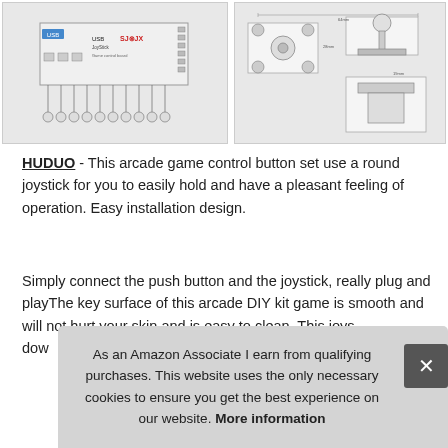[Figure (schematic): Diagram of USB game control board with wiring to buttons and joystick (left image) and technical engineering drawing of arcade joystick with dimensions (right image)]
HUDUO - This arcade game control button set use a round joystick for you to easily hold and have a pleasant feeling of operation. Easy installation design.
Simply connect the push button and the joystick, really plug and playThe key surface of this arcade DIY kit game is smooth and will not hurt your skin and is easy to clean. This joys dow
As an Amazon Associate I earn from qualifying purchases. This website uses the only necessary cookies to ensure you get the best experience on our website. More information